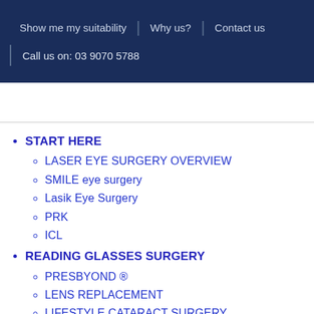Show me my suitability | Why us? | Contact us | Call us on: 03 9070 5788
START HERE
LASER EYE SURGERY OVERVIEW
SMILE eye surgery
Lasik Eye Surgery
PRK
ICL
READING GLASSES SURGERY
PRESBYOND ®
LENS REPLACEMENT
LIFESTYLE CATARACT SURGERY